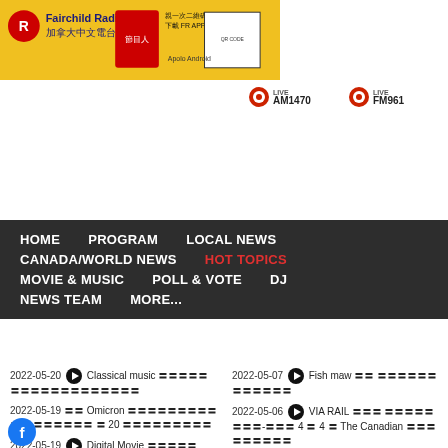[Figure (logo): Fairchild Radio banner with logo, QR code, and yellow background]
[Figure (other): LIVE AM1470 and LIVE FM961 radio buttons]
HOME  PROGRAM  LOCAL NEWS  CANADA/WORLD NEWS  HOT TOPICS  MOVIE & MUSIC  POLL & VOTE  DJ  NEWS TEAM  MORE...
2022-05-20  Classical music 〓〓〓〓〓〓〓〓〓〓〓〓〓〓〓〓〓〓
2022-05-19  〓〓 Omicron 〓〓〓〓〓〓〓〓〓〓 〓〓〓〓〓〓〓 〓 20 〓〓〓〓〓〓〓〓〓
2022-05-19  Digital Movie 〓〓〓〓〓MARRY ME〓
2022-05-18  Alberta 〓〓〓〓〓 〓〓〓〓〓〓〓〓〓〓
2022-05-07  Fish maw 〓〓 〓〓〓〓〓〓〓〓〓〓〓〓
2022-05-06  VIA RAIL 〓〓〓 〓〓〓〓〓 〓〓〓-〓〓〓 4 〓 4 〓 The Canadian 〓〓〓〓〓〓〓〓〓
2022-05-05  Eyelid twitching 〓 〓〓〓 〓〓〓〓〓〓〓〓〓〓〓〓〓
2022-05-04  Destinations